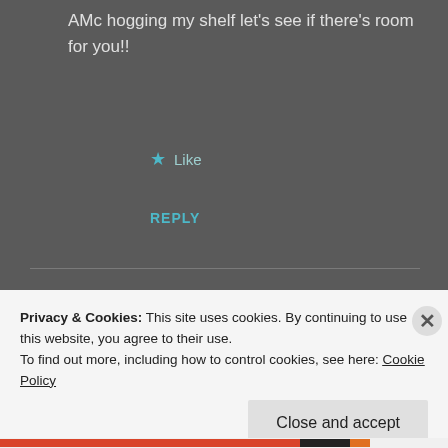AMc hogging my shelf let's see if there's room for you!!
★ Like
REPLY
[Figure (illustration): Green geometric quilt-pattern avatar icon with diamond shapes]
Anon
MARCH 22, 2021 AT 8:57 PM
Privacy & Cookies: This site uses cookies. By continuing to use this website, you agree to their use.
To find out more, including how to control cookies, see here: Cookie Policy
Close and accept